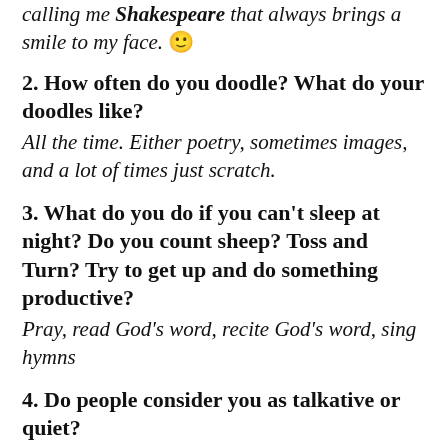calling me Shakespeare that always brings a smile to my face. 🙂
2. How often do you doodle? What do your doodles like?
All the time. Either poetry, sometimes images, and a lot of times just scratch.
3. What do you do if you can't sleep at night? Do you count sheep? Toss and Turn? Try to get up and do something productive?
Pray, read God's word, recite God's word, sing hymns
4. Do people consider you as talkative or quiet?
Depends on who you ask. Most people say quiet.